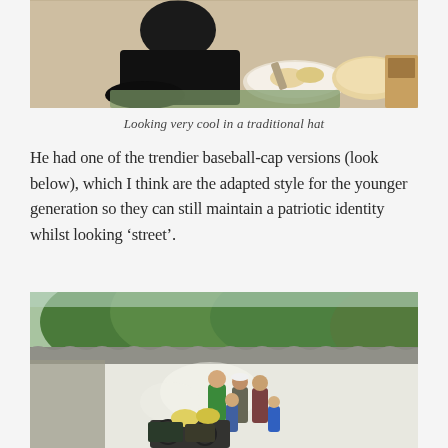[Figure (photo): A person in a black outfit sitting on the floor near a wall, with a plate of food and bread on a cloth in front of them.]
Looking very cool in a traditional hat
He had one of the trendier baseball-cap versions (look below), which I think are the adapted style for the younger generation so they can still maintain a patriotic identity whilst looking ‘street’.
[Figure (photo): A group of people standing in front of a white building with a corrugated metal roof, with trees and greenery in the background. Bicycles and helmets are visible in the foreground.]